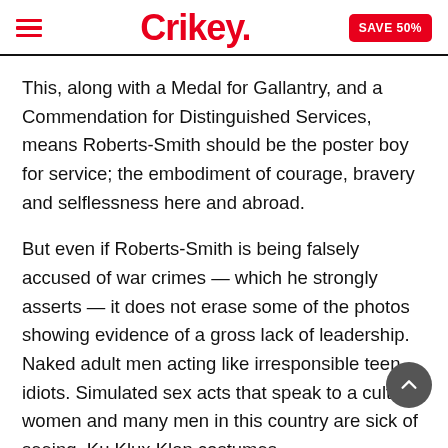Crikey.
This, along with a Medal for Gallantry, and a Commendation for Distinguished Services, means Roberts-Smith should be the poster boy for service; the embodiment of courage, bravery and selflessness here and abroad.
But even if Roberts-Smith is being falsely accused of war crimes — which he strongly asserts — it does not erase some of the photos showing evidence of a gross lack of leadership. Naked adult men acting like irresponsible teen idiots. Simulated sex acts that speak to a culture women and many men in this country are sick of seeing. Ku Klux Klan costumes.